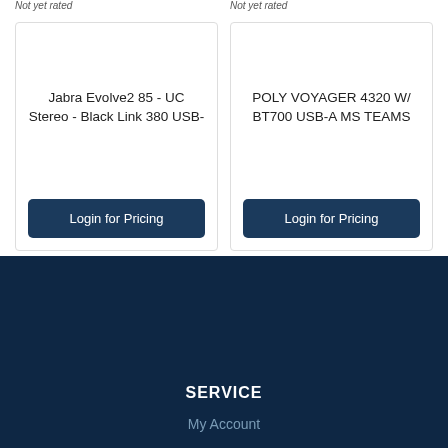Not yet rated | Not yet rated
Jabra Evolve2 85 - UC Stereo - Black Link 380 USB-
Login for Pricing
POLY VOYAGER 4320 W/ BT700 USB-A MS TEAMS
Login for Pricing
Not yet rated
Not yet rated
SERVICE
My Account